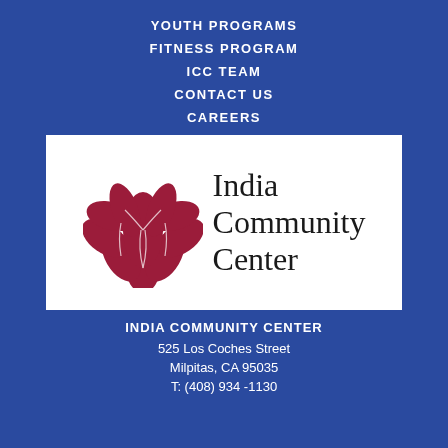YOUTH PROGRAMS
FITNESS PROGRAM
ICC TEAM
CONTACT US
CAREERS
[Figure (logo): India Community Center logo with a red lotus flower and serif text 'India Community Center' on white background]
INDIA COMMUNITY CENTER
525 Los Coches Street
Milpitas, CA 95035
T: (408) 934 -1130